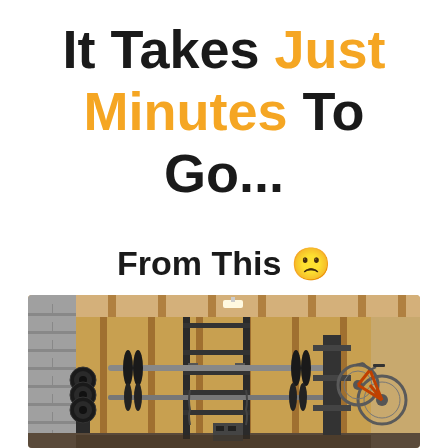It Takes Just Minutes To Go...
From This 🙁
[Figure (photo): A cluttered garage gym space with a squat rack/power rack holding barbells with weights, a bicycle hanging on the right wall, weight plates on the left, and exposed wooden stud wall framing in the background.]